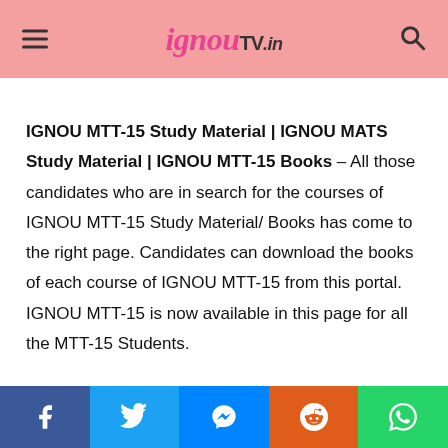ignouTV.in
IGNOU MTT-15 Study Material | IGNOU MATS Study Material | IGNOU MTT-15 Books – All those candidates who are in search for the courses of IGNOU MTT-15 Study Material/ Books has come to the right page. Candidates can download the books of each course of IGNOU MTT-15 from this portal. IGNOU MTT-15 is now available in this page for all the MTT-15 Students.